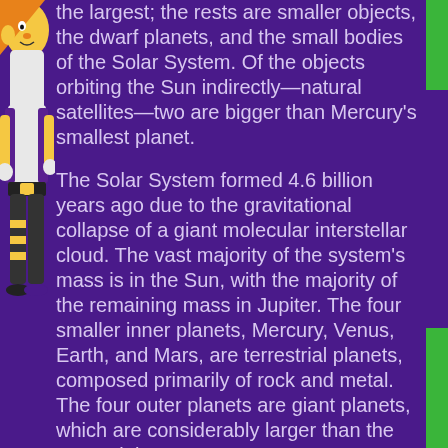the largest; the rests are smaller objects, the dwarf planets, and the small bodies of the Solar System. Of the objects orbiting the Sun indirectly—natural satellites—two are bigger than Mercury's smallest planet.
The Solar System formed 4.6 billion years ago due to the gravitational collapse of a giant molecular interstellar cloud. The vast majority of the system's mass is in the Sun, with the majority of the remaining mass in Jupiter. The four smaller inner planets, Mercury, Venus, Earth, and Mars, are terrestrial planets, composed primarily of rock and metal. The four outer planets are giant planets, which are considerably larger than the terrestrial ones.
The two largest planets, Jupiter and Saturn, are gas giants, consisting mainly of hydrogen...